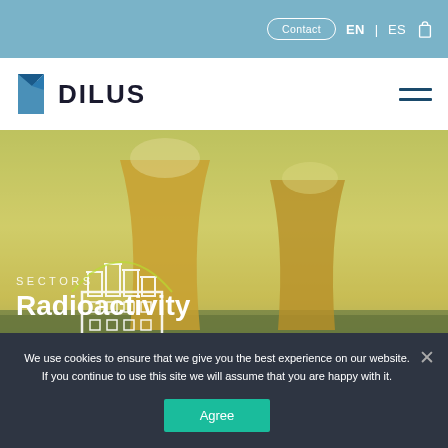Contact  EN | ES
[Figure (logo): DILUS company logo with blue folded page icon and DILUS text]
[Figure (photo): Aerial view of nuclear power plant cooling towers with yellowish-green haze overlay and nuclear plant icon outline]
SECTORS
Radioactivity
We use cookies to ensure that we give you the best experience on our website. If you continue to use this site we will assume that you are happy with it.
Agree